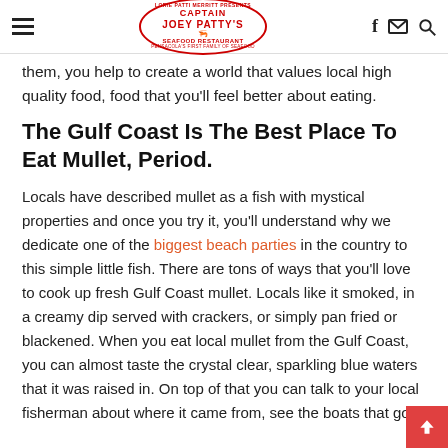Captain Joey Patty's Seafood Restaurant — Pensacola's First Family of Seafood
them, you help to create a world that values local high quality food, food that you'll feel better about eating.
The Gulf Coast Is The Best Place To Eat Mullet, Period.
Locals have described mullet as a fish with mystical properties and once you try it, you'll understand why we dedicate one of the biggest beach parties in the country to this simple little fish. There are tons of ways that you'll love to cook up fresh Gulf Coast mullet. Locals like it smoked, in a creamy dip served with crackers, or simply pan fried or blackened. When you eat local mullet from the Gulf Coast, you can almost taste the crystal clear, sparkling blue waters that it was raised in. On top of that you can talk to your local fisherman about where it came from, see the boats that go